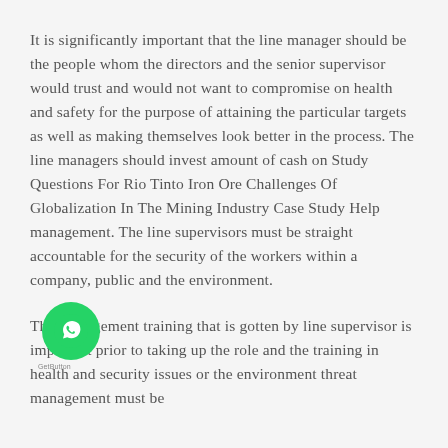It is significantly important that the line manager should be the people whom the directors and the senior supervisor would trust and would not want to compromise on health and safety for the purpose of attaining the particular targets as well as making themselves look better in the process. The line managers should invest amount of cash on Study Questions For Rio Tinto Iron Ore Challenges Of Globalization In The Mining Industry Case Study Help management. The line supervisors must be straight accountable for the security of the workers within a company, public and the environment.
The management training that is gotten by line supervisor is important prior to taking up the role and the training in health and security issues or the environment threat management must be